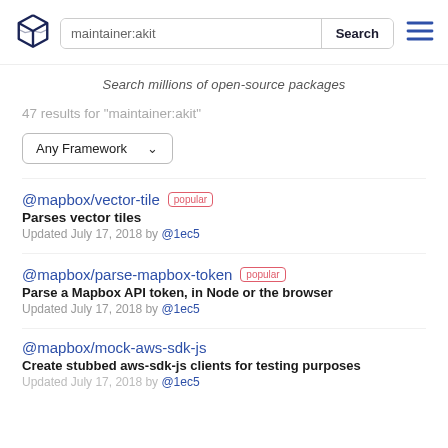[Figure (logo): Skypack/package registry logo — hexagonal box outline in dark navy]
maintainer:akit
Search
Search millions of open-source packages
47 results for "maintainer:akit"
Any Framework
@mapbox/vector-tile  popular
Parses vector tiles
Updated July 17, 2018 by @1ec5
@mapbox/parse-mapbox-token  popular
Parse a Mapbox API token, in Node or the browser
Updated July 17, 2018 by @1ec5
@mapbox/mock-aws-sdk-js
Create stubbed aws-sdk-js clients for testing purposes
Updated July 17, 2018 by @1ec5